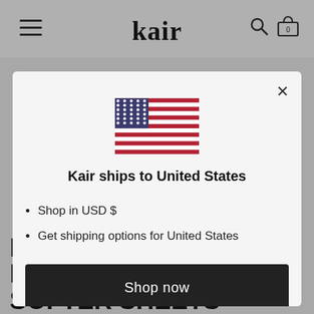kair
[Figure (screenshot): Modal popup dialog showing a US flag, text 'Kair ships to United States', bullet points, Shop now button, and Change shipping country link]
Shop in USD $
Get shipping options for United States
Shop now
Change shipping country
HOW TO GET FRESHER, SOFTER SHEETS